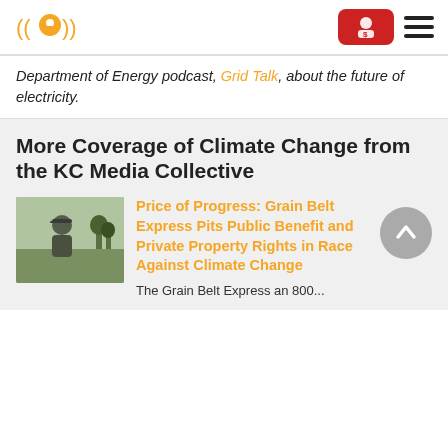[Figure (logo): Podcast/radio station logo: orange location pin with radio waves, orange color]
[Figure (other): Red donate button with person/dollar icon]
[Figure (other): Hamburger menu icon (three horizontal lines)]
Department of Energy podcast, Grid Talk, about the future of electricity.
More Coverage of Climate Change from the KC Media Collective
[Figure (photo): Photo of an older man wearing a cap outdoors in a field or rural area]
Price of Progress: Grain Belt Express Pits Public Benefit and Private Property Rights in Race Against Climate Change
The Grain Belt Express an 800...